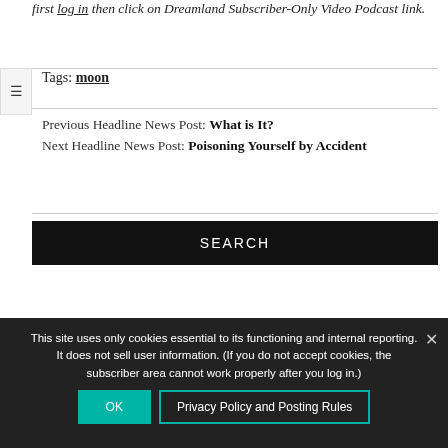first log in then click on Dreamland Subscriber-Only Video Podcast link.
Tags: moon
Previous Headline News Post: What is It?
Next Headline News Post: Poisoning Yourself by Accident
SEARCH
This site uses only cookies essential to its functioning and internal reporting. It does not sell user information. (If you do not accept cookies, the subscriber area cannot work properly after you log in.)
OK   Privacy Policy and Posting Rules